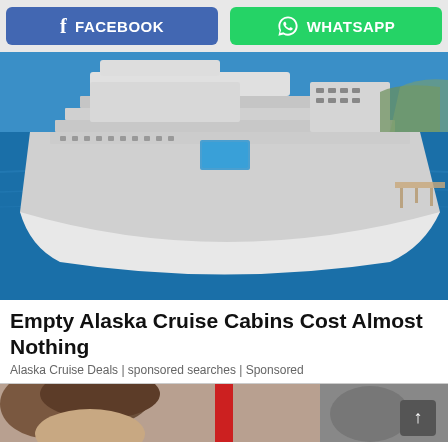[Figure (screenshot): Share bar with Facebook (blue) and WhatsApp (green) buttons]
[Figure (photo): Aerial view of a large luxury cruise ship on blue water]
Empty Alaska Cruise Cabins Cost Almost Nothing
Alaska Cruise Deals | sponsored searches | Sponsored
[Figure (photo): Partial view of a person at bottom of page, partially cut off]